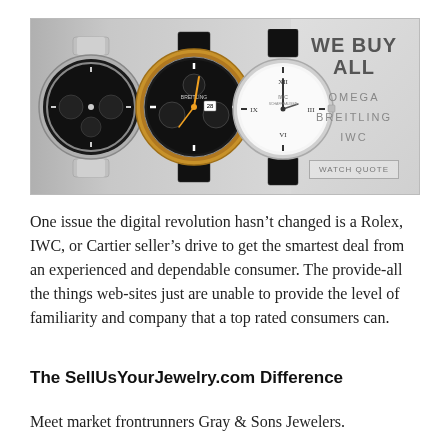[Figure (photo): Advertisement banner showing three luxury watches (a silver chronograph, a gold Breitling-style chronograph, and a white-dial dress watch) on a gray gradient background. Text on the right reads 'WE BUY ALL' with brands OMEGA, BREITLING, IWC listed below, and a 'WATCH QUOTE' button.]
One issue the digital revolution hasn’t changed is a Rolex, IWC, or Cartier seller’s drive to get the smartest deal from an experienced and dependable consumer. The provide-all the things web-sites just are unable to provide the level of familiarity and company that a top rated consumers can.
The SellUsYourJewelry.com Difference
Meet market frontrunners Gray & Sons Jewelers.